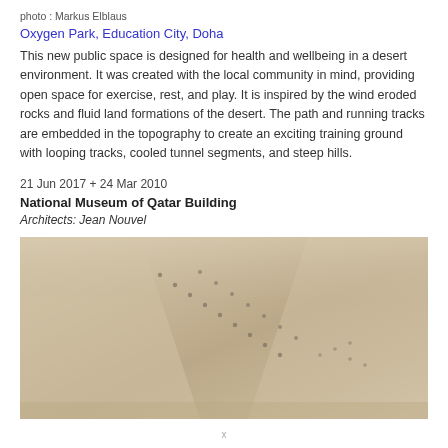photo : Markus Elblaus
Oxygen Park, Education City, Doha
This new public space is designed for health and wellbeing in a desert environment. It was created with the local community in mind, providing open space for exercise, rest, and play. It is inspired by the wind eroded rocks and fluid land formations of the desert. The path and running tracks are embedded in the topography to create an exciting training ground with looping tracks, cooled tunnel segments, and steep hills.
21 Jun 2017 + 24 Mar 2010
National Museum of Qatar Building
Architects: Jean Nouvel
[Figure (photo): Interior photograph of the National Museum of Qatar Building showing curved white walls and ceiling with diagonal lines of small light fixtures, creating a dramatic architectural space.]
x